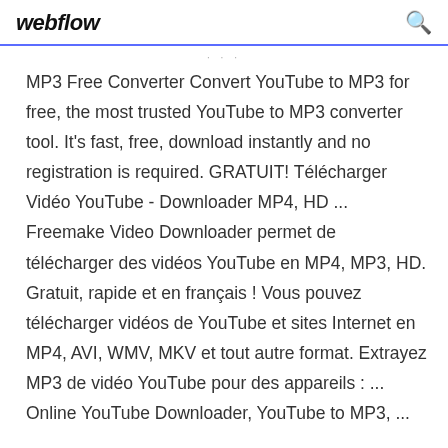webflow
MP3 Free Converter Convert YouTube to MP3 for free, the most trusted YouTube to MP3 converter tool. It's fast, free, download instantly and no registration is required. GRATUIT! Télécharger Vidéo YouTube - Downloader MP4, HD ... Freemake Video Downloader permet de télécharger des vidéos YouTube en MP4, MP3, HD. Gratuit, rapide et en français ! Vous pouvez télécharger vidéos de YouTube et sites Internet en MP4, AVI, WMV, MKV et tout autre format. Extrayez MP3 de vidéo YouTube pour des appareils : ... Online YouTube Downloader, YouTube to MP3, ...